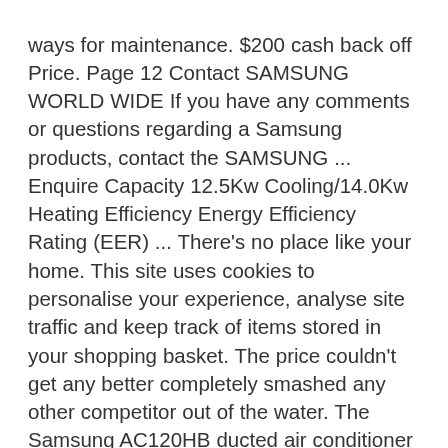ways for maintenance. $200 cash back off Price. Page 12 Contact SAMSUNG WORLD WIDE If you have any comments or questions regarding a Samsung products, contact the SAMSUNG ... Enquire Capacity 12.5Kw Cooling/14.0Kw Heating Efficiency Energy Efficiency Rating (EER) ... There's no place like your home. This site uses cookies to personalise your experience, analyse site traffic and keep track of items stored in your shopping basket. The price couldn't get any better completely smashed any other competitor out of the water. The Samsung AC120HB ducted air conditioner is available to buy as is or we can arrange full installation. Whether your product is in warranty or out of warranty, we're here to help. Speak with our friendly staff for a custom-quote today. Description SAMSUNG 5.2kw Model AC052HBHF. How do I use the heating mode on my air conditioner? Search for the nearest Samsung Service Centres in your area. The ducted air